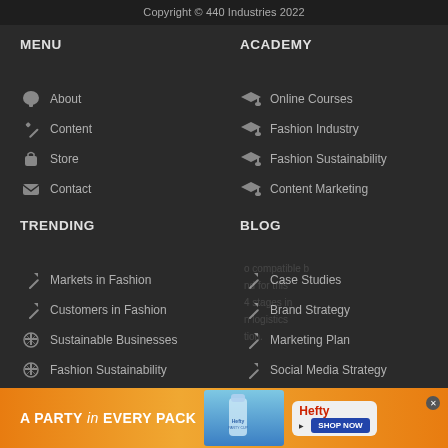Copyright © 440 Industries 2022
MENU
About
Content
Store
Contact
ACADEMY
Online Courses
Fashion Industry
Fashion Sustainability
Content Marketing
TRENDING
Markets in Fashion
Customers in Fashion
Sustainable Businesses
Fashion Sustainability
BLOG
Case Studies
Brand Strategy
Marketing Plan
Social Media Strategy
[Figure (screenshot): Advertisement banner for Hefty products - A PARTY in EVERY PACK]